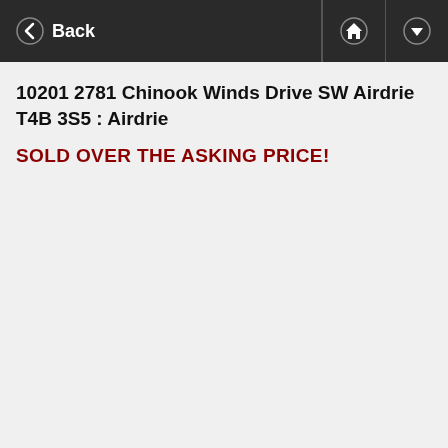Back
10201 2781 Chinook Winds Drive SW Airdrie T4B 3S5 : Airdrie
SOLD OVER THE ASKING PRICE!